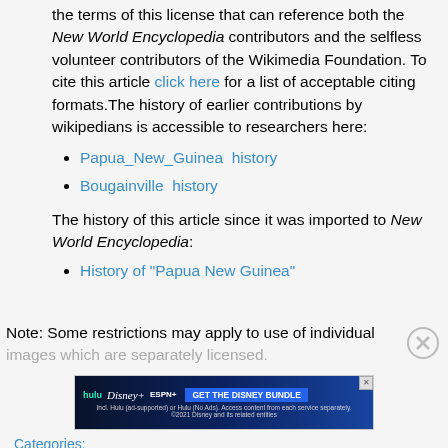the terms of this license that can reference both the New World Encyclopedia contributors and the selfless volunteer contributors of the Wikimedia Foundation. To cite this article click here for a list of acceptable citing formats.The history of earlier contributions by wikipedians is accessible to researchers here:
Papua_New_Guinea  history
Bougainville  history
The history of this article since it was imported to New World Encyclopedia:
History of "Papua New Guinea"
Note: Some restrictions may apply to use of individual images which are separately licensed.
[Figure (screenshot): Hulu Disney+ ESPN+ GET THE DISNEY BUNDLE advertisement banner]
Categories: